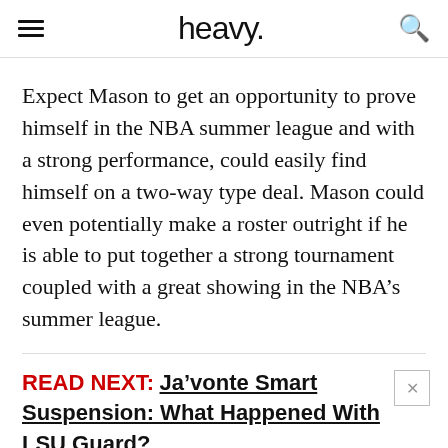heavy.
Expect Mason to get an opportunity to prove himself in the NBA summer league and with a strong performance, could easily find himself on a two-way type deal. Mason could even potentially make a roster outright if he is able to put together a strong tournament coupled with a great showing in the NBA’s summer league.
READ NEXT: Ja’vonte Smart Suspension: What Happened With LSU Guard?
Published Mar 21, 2019 at 8:00pm